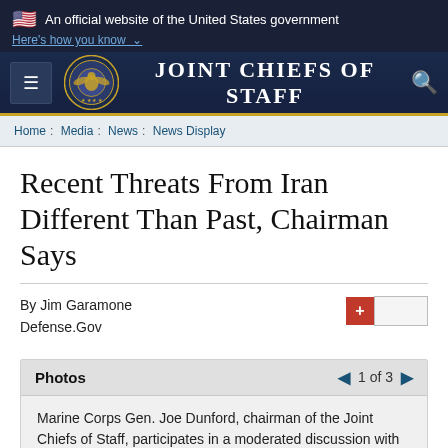An official website of the United States government
Here's how you know
Joint Chiefs of Staff
Home : Media : News : News Display
Recent Threats From Iran Different Than Past, Chairman Says
By Jim Garamone
Defense.Gov
Photos  1 of 3
Marine Corps Gen. Joe Dunford, chairman of the Joint Chiefs of Staff, participates in a moderated discussion with Michael O'Hanlon,